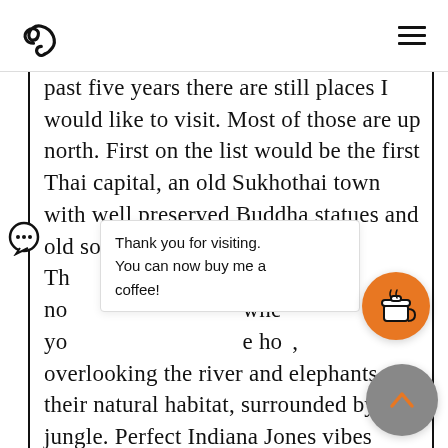Logo and navigation header
past five years there are still places I would like to visit. Most of those are up north. First on the list would be the first Thai capital, an old Sukhothai town with well preserved Buddha statues and old something pagodas. The ... far up north ... where you ... the hotel, overlooking the river and elephants their natural habitat, surrounded by jungle. Perfect Indiana Jones vibes
Thank you for visiting. You can now buy me a coffee!